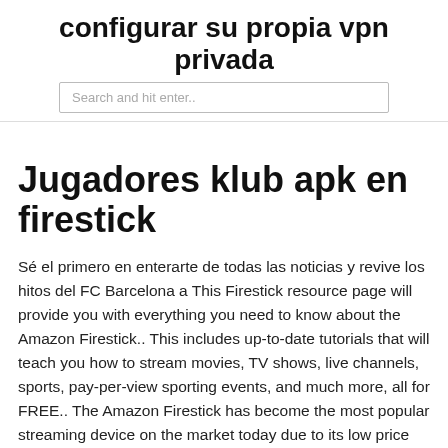configurar su propia vpn privada
Search and hit enter..
Jugadores klub apk en firestick
Sé el primero en enterarte de todas las noticias y revive los hitos del FC Barcelona a This Firestick resource page will provide you with everything you need to know about the Amazon Firestick.. This includes up-to-date tutorials that will teach you how to stream movies, TV shows, live channels, sports, pay-per-view sporting events, and much more, all for FREE.. The Amazon Firestick has become the most popular streaming device on the market today due to its low price point and Firestick TV, Mexicali. 659 likes · 2 talking about this.